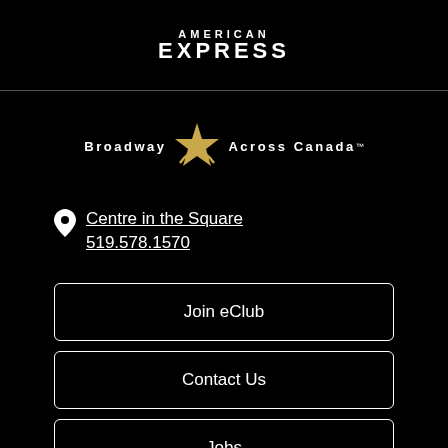[Figure (logo): American Express logo in white text on black background, showing 'AMERICAN EXPRESS' in bold capital letters]
[Figure (logo): Broadway Across Canada logo with gold star graphic between 'BROADWAY' and 'ACROSS CANADA' text]
Centre in the Square
519.578.1570
Join eClub
Contact Us
Jobs